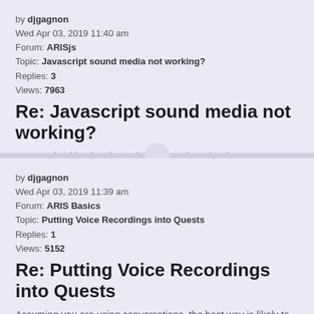by djgagnon
Wed Apr 03, 2019 11:40 am
Forum: ARISjs
Topic: Javascript sound media not working?
Replies: 3
Views: 7963
Re: Javascript sound media not working?
We are checking into it. Look for an update shortly.
by djgagnon
Wed Apr 03, 2019 11:39 am
Forum: ARIS Basics
Topic: Putting Voice Recordings into Quests
Replies: 1
Views: 5152
Re: Putting Voice Recordings into Quests
Assuming you are using conversations, the best way is likely to upload a video file that has a still image combined with your audio. Alternately, you can use a bit of javascript in the text combined with the 'audio' tag. See https://fielddaylab.org/forums/viewtopic.php?